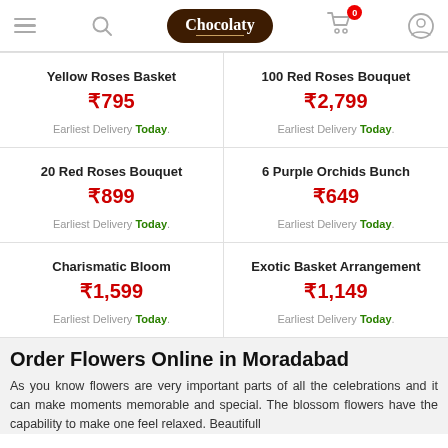Chocolaty — navigation header with hamburger, search, logo, cart (0), user icon
Yellow Roses Basket ₹795 Earliest Delivery Today.
100 Red Roses Bouquet ₹2,799 Earliest Delivery Today.
20 Red Roses Bouquet ₹899 Earliest Delivery Today.
6 Purple Orchids Bunch ₹649 Earliest Delivery Today.
Charismatic Bloom ₹1,599 Earliest Delivery Today.
Exotic Basket Arrangement ₹1,149 Earliest Delivery Today.
Order Flowers Online in Moradabad
As you know flowers are very important parts of all the celebrations and it can make moments memorable and special. The blossom flowers have the capability to make one feel relaxed. Beautifully